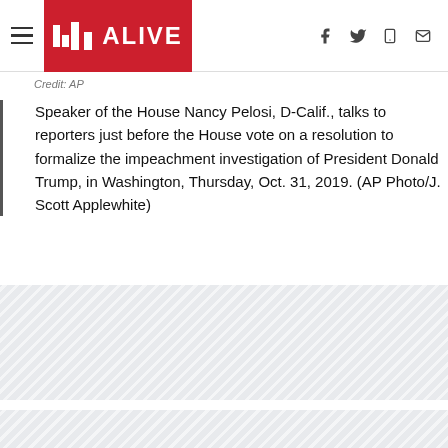11 ALIVE
Credit: AP
Speaker of the House Nancy Pelosi, D-Calif., talks to reporters just before the House vote on a resolution to formalize the impeachment investigation of President Donald Trump, in Washington, Thursday, Oct. 31, 2019. (AP Photo/J. Scott Applewhite)
[Figure (other): Advertisement placeholder block with diagonal hatching pattern]
[Figure (other): Advertisement placeholder block with diagonal hatching pattern]